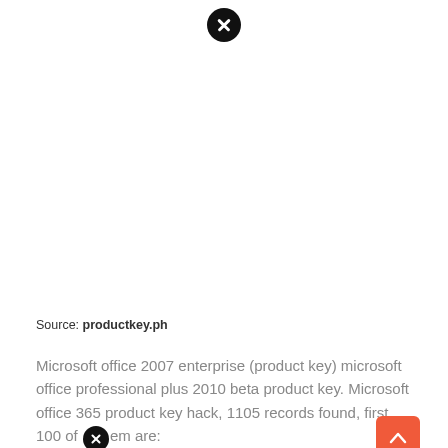[Figure (other): Black circle close/dismiss button icon at top center of page]
Source: productkey.ph
Microsoft office 2007 enterprise (product key) microsoft office professional plus 2010 beta product key. Microsoft office 365 product key hack, 1105 records found, first 100 of them are:
[Figure (other): Orange/red rounded square scroll-to-top button with upward arrow icon]
[Figure (other): Black circle close/dismiss button icon inline within text]